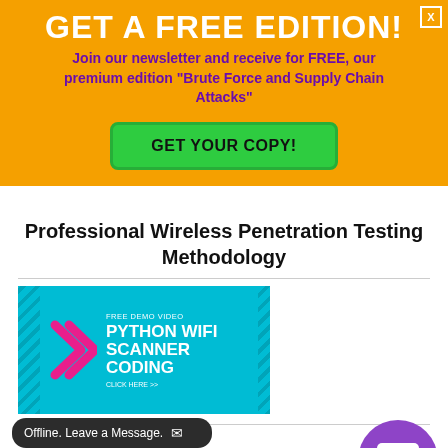GET A FREE EDITION!
Join our newsletter and receive for FREE, our premium edition “Brute Force and Supply Chain Attacks”
GET YOUR COPY!
Professional Wireless Penetration Testing Methodology
[Figure (illustration): Advertisement banner for Free Demo Video: Python Wifi Scanner Coding. Cyan/teal background with diagonal stripes, pink chevron arrows, white bold text.]
QUESTIONS?
please contact our eLearning
urses@hakin9.org
Offline. Leave a Message.